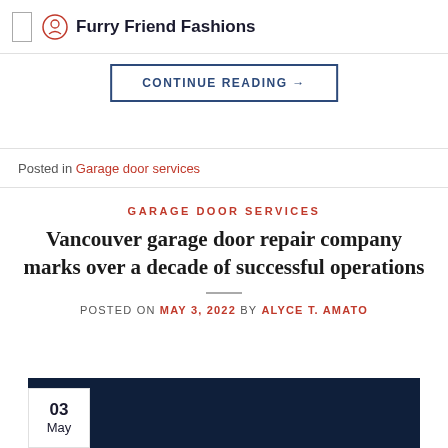Furry Friend Fashions
maestro in the installation and service of garage doors. She also specializes in the repair of garage doors regardless of [...]
CONTINUE READING →
Posted in Garage door services
GARAGE DOOR SERVICES
Vancouver garage door repair company marks over a decade of successful operations
POSTED ON MAY 3, 2022 BY ALYCE T. AMATO
[Figure (photo): Dark navy blue image block with a white date badge showing 03 May in the lower left corner]